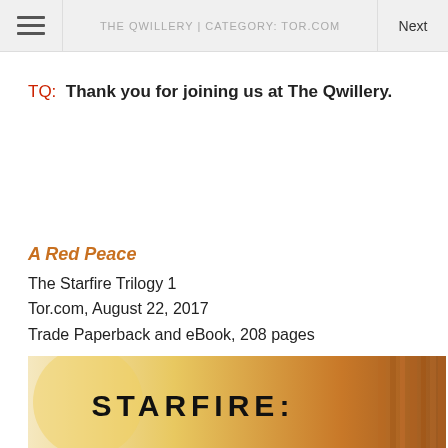THE QWILLERY | CATEGORY: TOR.COM
TQ:  Thank you for joining us at The Qwillery.
A Red Peace
The Starfire Trilogy 1
Tor.com, August 22, 2017
Trade Paperback and eBook, 208 pages
[Figure (illustration): Bottom portion of Starfire book cover showing 'STARFIRE:' text in bold black letters on a warm yellow-orange gradient background with decorative element on right side]